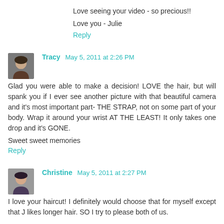Love seeing your video - so precious!!
Love you - Julie
Reply
Tracy May 5, 2011 at 2:26 PM
Glad you were able to make a decision! LOVE the hair, but will spank you if I ever see another picture with that beautiful camera and it's most important part- THE STRAP, not on some part of your body. Wrap it around your wrist AT THE LEAST! It only takes one drop and it's GONE.
Sweet sweet memories
Reply
Christine May 5, 2011 at 2:27 PM
I love your haircut! I definitely would choose that for myself except that J likes longer hair. SO I try to please both of us.